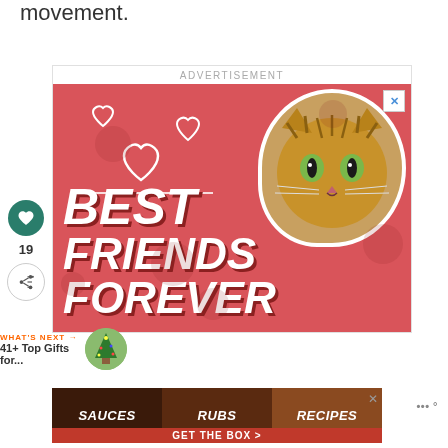movement.
[Figure (screenshot): Advertisement banner for a pet product showing a tabby cat and text 'BEST FRIENDS FOREVER' on a pink/red background with heart icons]
[Figure (screenshot): Bottom advertisement banner showing 'SAUCES RUBS RECIPES GET THE BOX' on a dark background with food images]